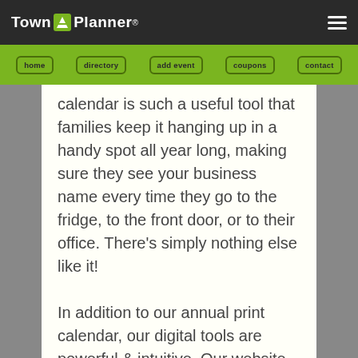Town Planner
calendar is such a useful tool that families keep it hanging up in a handy spot all year long, making sure they see your business name every time they go to the fridge, to the front door, or to their office. There's simply nothing else like it!
In addition to our annual print calendar, our digital tools are powerful & intuitive. Our website, weekly events e-newsletter & smart phone apps are updated every day to ensure